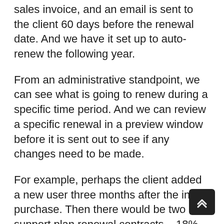sales invoice, and an email is sent to the client 60 days before the renewal date.  And we have it set up to auto-renew the following year.
From an administrative standpoint, we can see what is going to renew during a specific time period. And we can review a specific renewal in a preview window before it is sent out to see if any changes need to be made.
For example, perhaps the client added a new user three months after the initial purchase. Then there would be two support plan renewal contracts – 18% of the original purchase and 18% the additional user. Our team can decide to combine those invoices into one.
We know that ISV add on vendors charge their annual support plan fees differently. Some charge pro-rated amount so that the renewal data matches